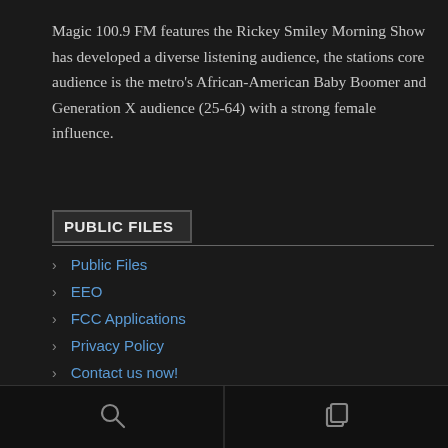Magic 100.9 FM features the Rickey Smiley Morning Show has developed a diverse listening audience, the stations core audience is the metro's African-American Baby Boomer and Generation X audience (25-64) with a strong female influence.
PUBLIC FILES
Public Files
EEO
FCC Applications
Privacy Policy
Contact us now!